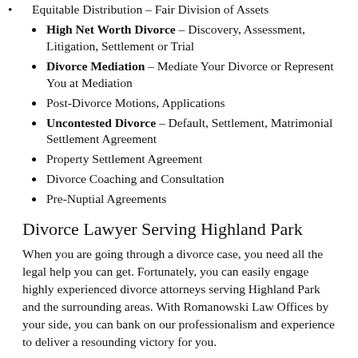Equitable Distribution – Fair Division of Assets
High Net Worth Divorce – Discovery, Assessment, Litigation, Settlement or Trial
Divorce Mediation – Mediate Your Divorce or Represent You at Mediation
Post-Divorce Motions, Applications
Uncontested Divorce – Default, Settlement, Matrimonial Settlement Agreement
Property Settlement Agreement
Divorce Coaching and Consultation
Pre-Nuptial Agreements
Divorce Lawyer Serving Highland Park
When you are going through a divorce case, you need all the legal help you can get. Fortunately, you can easily engage highly experienced divorce attorneys serving Highland Park and the surrounding areas. With Romanowski Law Offices by your side, you can bank on our professionalism and experience to deliver a resounding victory for you.